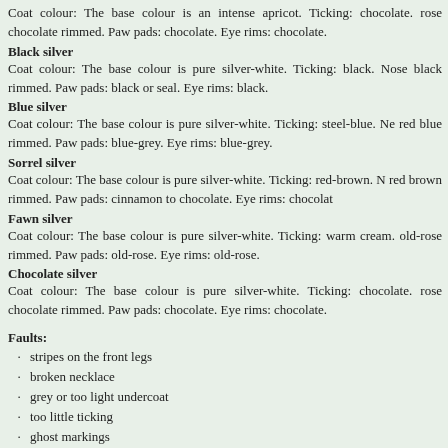Coat colour: The base colour is an intense apricot. Ticking: chocolate. rose chocolate rimmed. Paw pads: chocolate. Eye rims: chocolate.
Black silver
Coat colour: The base colour is pure silver-white. Ticking: black. Nose black rimmed. Paw pads: black or seal. Eye rims: black.
Blue silver
Coat colour: The base colour is pure silver-white. Ticking: steel-blue. Ne red blue rimmed. Paw pads: blue-grey. Eye rims: blue-grey.
Sorrel silver
Coat colour: The base colour is pure silver-white. Ticking: red-brown. N red brown rimmed. Paw pads: cinnamon to chocolate. Eye rims: chocolat
Fawn silver
Coat colour: The base colour is pure silver-white. Ticking: warm cream. old-rose rimmed. Paw pads: old-rose. Eye rims: old-rose.
Chocolate silver
Coat colour: The base colour is pure silver-white. Ticking: chocolate. rose chocolate rimmed. Paw pads: chocolate. Eye rims: chocolate.
Faults:
stripes on the front legs
broken necklace
grey or too light undercoat
too little ticking
ghost markings
missing eye rims
white extending beyond the chin
Faults excluding the CAC:
white medallion (locket)